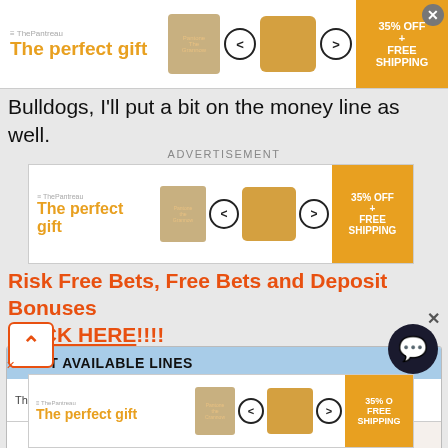[Figure (screenshot): Top advertisement banner for 'The perfect gift' with food image, navigation arrows, and 35% OFF + FREE SHIPPING orange box]
there b... based ... for the Bulldogs, I'll put a bit on the money line as well.
ADVERTISEMENT
[Figure (screenshot): Middle advertisement banner for 'The perfect gift' with food image, navigation arrows, and 35% OFF + FREE SHIPPING orange box]
Risk Free Bets, Free Bets and Deposit Bonuses CLICK HERE!!!!
| BEST AVAILABLE LINES |  |  |
| --- | --- | --- |
| Thu, 11:00p | West Virginia | Pittsburgh |
[Figure (screenshot): Bottom advertisement banner for 'The perfect gift' with 35% OFF FREE SHIPPING]